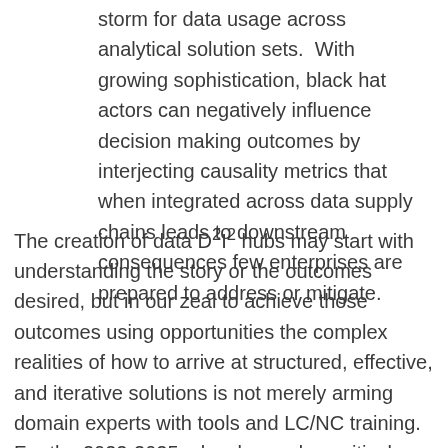storm for data usage across analytical solution sets.  With growing sophistication, black hat actors can negatively influence decision making outcomes by interjecting causality metrics that when integrated across data supply chains leads to downstream consequences few enterprises are prepared to address or mitigate.
The creation of data D²I² hubs may start with understanding the story or the outcomes desired, but in our zeal to achieve those outcomes using opportunities the complex realities of how to arrive at structured, effective, and iterative solutions is not merely arming domain experts with tools and LC/NC training.  For the 2022-2025 c-level agendas, critical competencies and skills must be